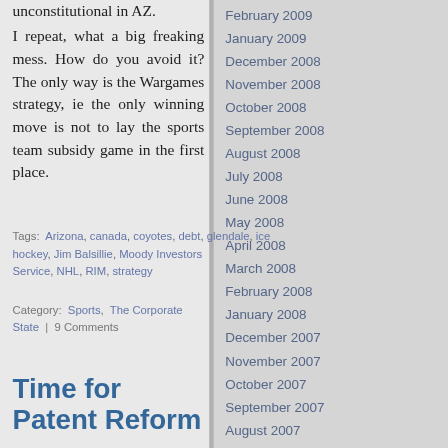unconstitutional in AZ.
I repeat, what a big freaking mess. How do you avoid it? The only way is the Wargames strategy, ie the only winning move is not to lay the sports team subsidy game in the first place.
Tags: Arizona, canada, coyotes, debt, glendale, ice hockey, Jim Balsillie, Moody Investors Service, NHL, RIM, strategy
Category: Sports, The Corporate State | 9 Comments
Time for Patent Reform
February 2009
January 2009
December 2008
November 2008
October 2008
September 2008
August 2008
July 2008
June 2008
May 2008
April 2008
March 2008
February 2008
January 2008
December 2007
November 2007
October 2007
September 2007
August 2007
July 2007
June 2007
May 2007